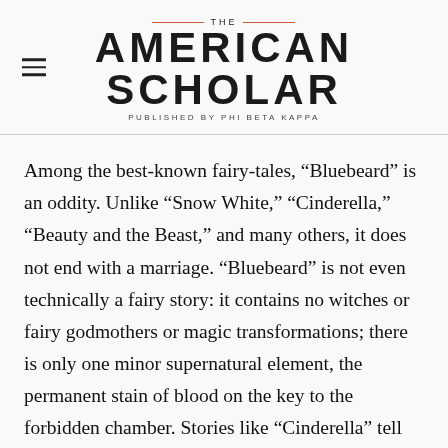THE AMERICAN SCHOLAR — PUBLISHED BY PHI BETA KAPPA
Among the best-known fairy-tales, “Bluebeard” is an oddity. Unlike “Snow White,” “Cinderella,” “Beauty and the Beast,” and many others, it does not end with a marriage. “Bluebeard” is not even technically a fairy story: it contains no witches or fairy godmothers or magic transformations; there is only one minor supernatural element, the permanent stain of blood on the key to the forbidden chamber. Stories like “Cinderella” tell us that a troubled, often unhappy adolescence ends with a happy marriage; “Bluebeard”